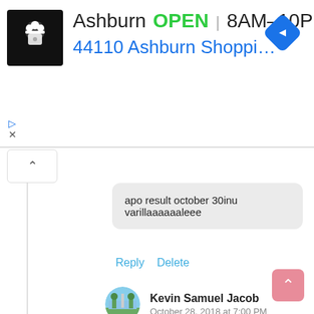[Figure (screenshot): Ad banner for a restaurant location in Ashburn showing logo, open status, hours (8AM-10PM), and address (44110 Ashburn Shopping Plaza...)]
apo result october 30inu varillaaaaaaleee
Reply   Delete
Kevin Samuel Jacob
October 28, 2018 at 7:00 PM
expected to be published in November.. appo verrillayirrikkum
Delete